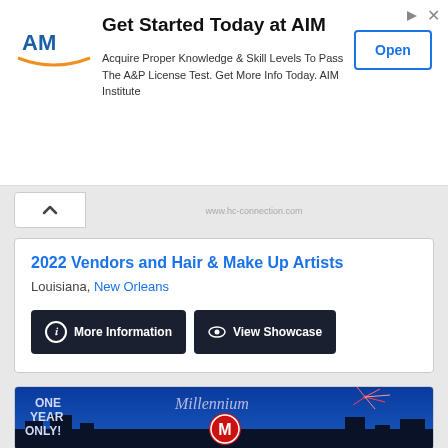[Figure (illustration): AIM Institute advertisement banner with logo, headline 'Get Started Today at AIM', body text about A&P License Test, and an Open button]
Get Started Today at AIM
Acquire Proper Knowledge & Skill Levels To Pass The A&P License Test. Get More Info Today. AIM Institute
2022 Vendors and Hair & Make Up Artists
Louisiana, New Orleans
More Information
View Showcase
[Figure (illustration): Millennium dance competition promotional image showing city skyline with fireworks, 'ONE YEAR ONLY!' text, and Millennium logo badge]